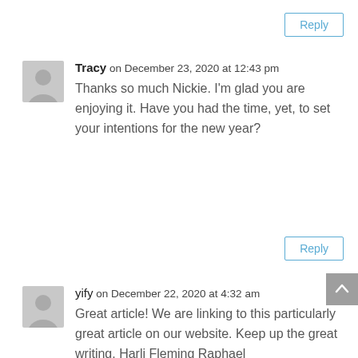Reply
Tracy on December 23, 2020 at 12:43 pm
Thanks so much Nickie. I'm glad you are enjoying it. Have you had the time, yet, to set your intentions for the new year?
Reply
yify on December 22, 2020 at 4:32 am
Great article! We are linking to this particularly great article on our website. Keep up the great writing. Harli Fleming Raphael